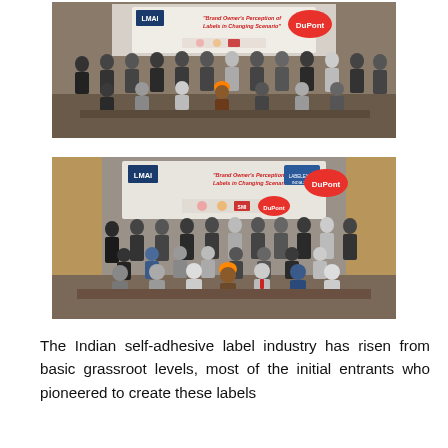[Figure (photo): Group photo of approximately 25 men standing and seated in rows in front of a banner reading 'Brand Owner's Perception of Labels in Changing Scenario' with LMAI and DuPont logos. Indoor venue.]
[Figure (photo): Second group photo of approximately 25 men standing and seated in rows in front of the same banner reading 'Brand Owner's Perception of Labels in Changing Scenario' with LMAI and DuPont logos. Indoor venue with wooden paneling visible.]
The Indian self-adhesive label industry has risen from basic grassroot levels, most of the initial entrants who pioneered to create these labels